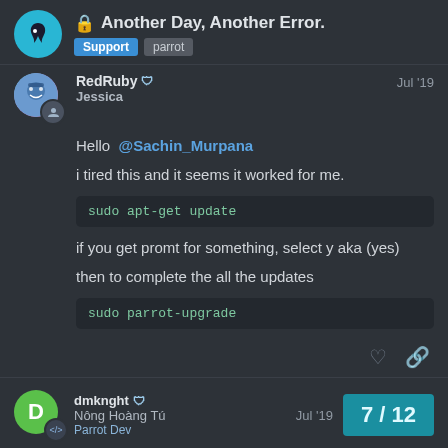Another Day, Another Error. — Support / parrot
RedRuby Jessica — Jul '19
Hello @Sachin_Murpana
i tired this and it seems it worked for me.
sudo apt-get update
if you get promt for something, select y aka (yes)
then to complete the all the updates
sudo parrot-upgrade
dmknght — Nông Hoàng Tú — Parrot Dev — Jul '19 — 7/12